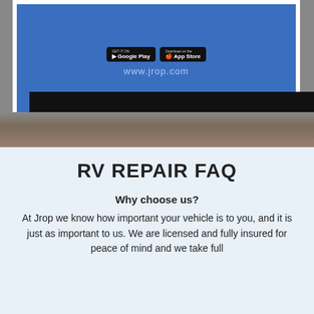[Figure (screenshot): Screenshot of jrop.com app download page showing Google Play and App Store buttons on a blue background, with www.jrop.com text. Below is a dark/black bar and a partial view of hands holding a device.]
RV REPAIR FAQ
Why choose us?
At Jrop we know how important your vehicle is to you, and it is just as important to us. We are licensed and fully insured for peace of mind and we take full